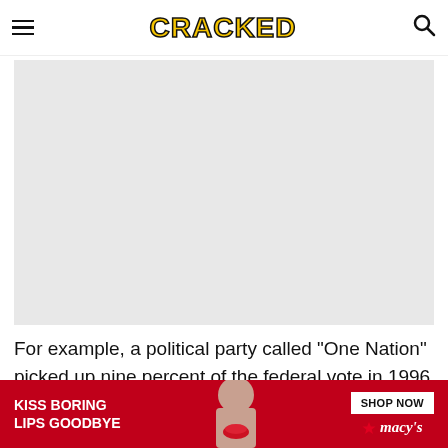CRACKED
[Figure (photo): A large light gray placeholder image area, representing a photo or image not loaded]
For example, a political party called "One Nation" picked up nine percent of the federal vote in 1996
[Figure (other): Advertisement banner: KISS BORING LIPS GOODBYE — SHOP NOW — Macy's logo with red star]